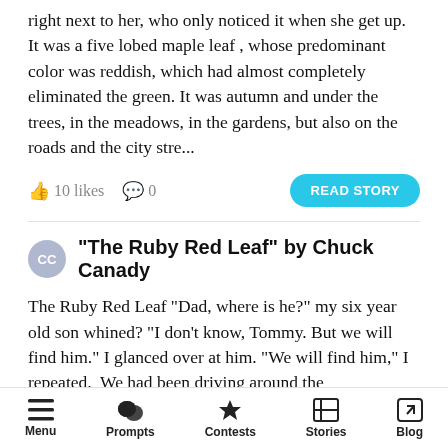right next to her, who only noticed it when she get up. It was a five lobed maple leaf , whose predominant color was reddish, which had almost completely eliminated the green. It was autumn and under the trees, in the meadows, in the gardens, but also on the roads and the city stre...
10 likes  0  READ STORY
“The Ruby Red Leaf” by Chuck Canady
The Ruby Red Leaf “Dad, where is he?” my six year old son whined? “I don’t know, Tommy. But we will find him.” I glanced over at him. “We will find him,” I repeated.  We had been driving around the neighborhood for hours. My old truck was dangerously
Menu  Prompts  Contests  Stories  Blog